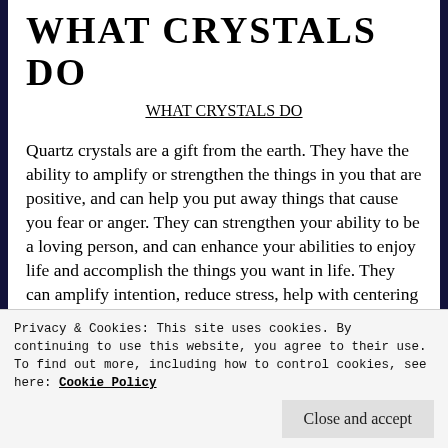WHAT CRYSTALS DO
WHAT CRYSTALS DO
Quartz crystals are a gift from the earth. They have the ability to amplify or strengthen the things in you that are positive, and can help you put away things that cause you fear or anger. They can strengthen your ability to be a loving person, and can enhance your abilities to enjoy life and accomplish the things you want in life. They can amplify intention, reduce stress, help with centering (balancing or calming), strengthen
Privacy & Cookies: This site uses cookies. By continuing to use this website, you agree to their use.
To find out more, including how to control cookies, see here: Cookie Policy
Close and accept